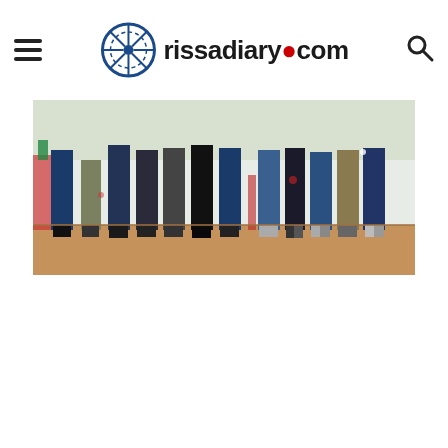rissadiary.com
[Figure (photo): A row of people standing, showing only from the waist down — legs and feet visible — in front of a white backdrop with a terracotta/brown floor. The scene appears to be an outdoor or semi-outdoor event.]